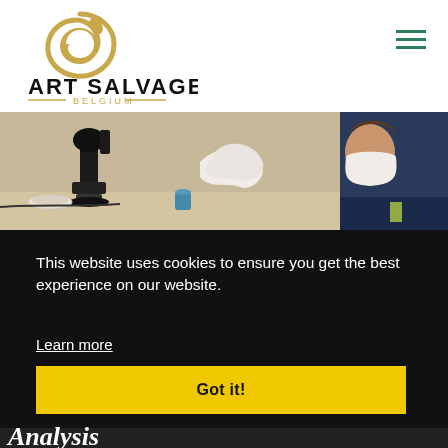[Figure (logo): Art Salvage Belgium logo: gold swirl emblem with text ART SALVAGE BELGIUM]
[Figure (photo): A person wearing a face mask examining samples with a microscope in a laboratory setting]
This website uses cookies to ensure you get the best experience on our website.
Learn more
Got it!
Analysis